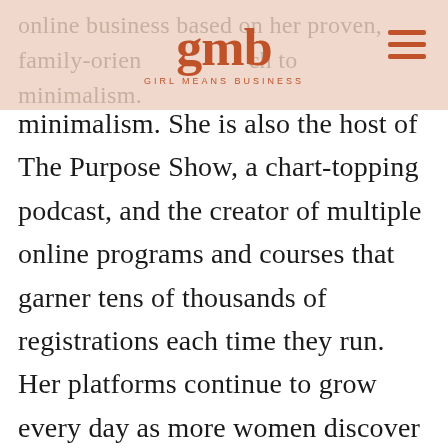online business based on her proven, family-oriented approach to minimalism. [GMB logo] GIRL MEANS BUSINESS [hamburger menu]
minimalism. She is also the host of The Purpose Show, a chart-topping podcast, and the creator of multiple online programs and courses that garner tens of thousands of registrations each time they run. Her platforms continue to grow every day as more women discover her life-changing approach to creating an abundant life. She was raised in Southern California and recently